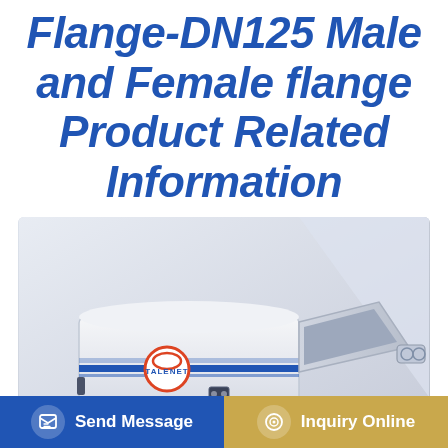Flange-DN125 Male and Female flange Product Related Information
[Figure (photo): White TALENET branded concrete pump machine on wheels/trailer with hopper, shown in a bright industrial setting.]
Send Message
Inquiry Online